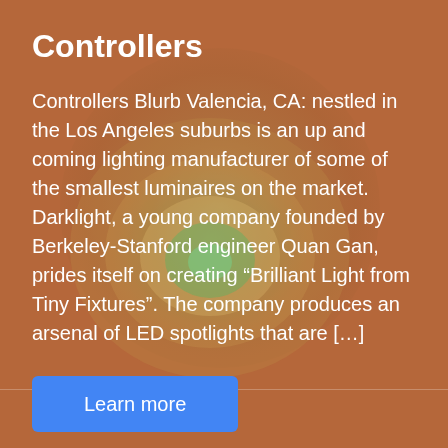Controllers
Controllers Blurb Valencia, CA: nestled in the Los Angeles suburbs is an up and coming lighting manufacturer of some of the smallest luminaires on the market. Darklight, a young company founded by Berkeley-Stanford engineer Quan Gan, prides itself on creating “Brilliant Light from Tiny Fixtures”. The company produces an arsenal of LED spotlights that are […]
[Figure (other): Background image of a glowing LED light orb with orange-brown tones and green inner glow]
Learn more